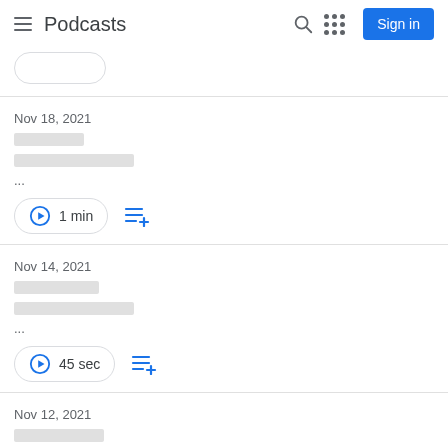Podcasts
Nov 18, 2021 | [redacted title] | [redacted description] | ... | 1 min
Nov 14, 2021 | [redacted title] | [redacted description] | ... | 45 sec
Nov 12, 2021 | [redacted title]